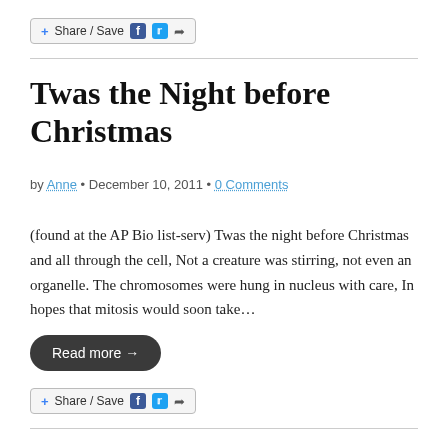[Figure (other): Share/Save button with Facebook, Twitter, and share icons]
Twas the Night before Christmas
by Anne • December 10, 2011 • 0 Comments
(found at the AP Bio list-serv) Twas the night before Christmas and all through the cell, Not a creature was stirring, not even an organelle. The chromosomes were hung in nucleus with care, In hopes that mitosis would soon take…
[Figure (other): Read more → button]
[Figure (other): Share/Save button with Facebook, Twitter, and share icons]